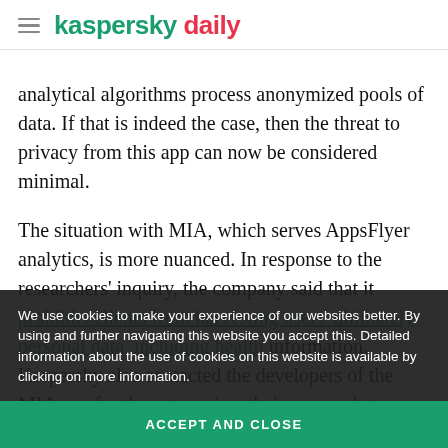kaspersky daily
analytical algorithms process anonymized pools of data. If that is indeed the case, then the threat to privacy from this app can now be considered minimal.
The situation with MIA, which serves AppsFlyer analytics, is more nuanced. In response to the researchers’ inquiry, the company said that it prohibits clients from harvesting users’ ultimately personal data, including health information. Kaspersky also contacted the developers of the MIA app for them to review their approach to analytics. But
We use cookies to make your experience of our websites better. By using and further navigating this website you accept this. Detailed information about the use of cookies on this website is available by clicking on more information.
ACCEPT AND CLOSE